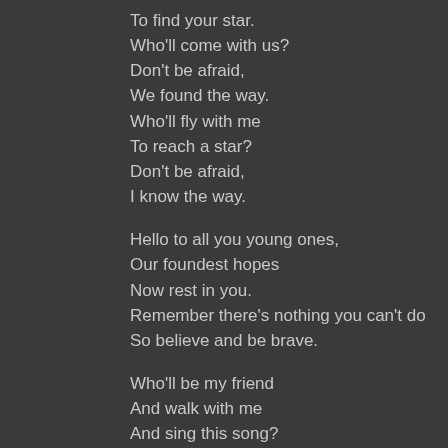To find your star.
Who'll come with us?
Don't be afraid,
We found the way.
Who'll fly with me
To reach a star?
Don't be afraid,
I know the way.

Hello to all you young ones,
Our foundest hopes
Now rest in you.
Remember there's nothing you can't do
So believe and be brave.

Who'll be my friend
And walk with me
And sing this song?
Who'll love with me?
We'll change the world
And set it free.

We'll walk with you,